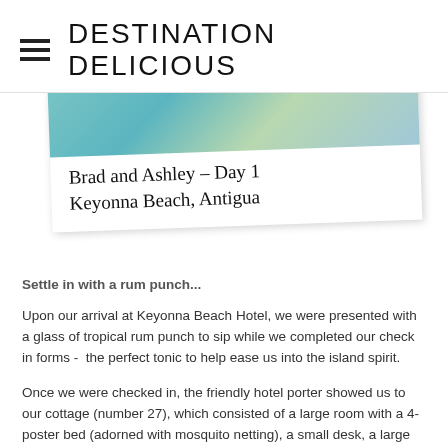DESTINATION DELICIOUS
[Figure (photo): Polaroid-style photo with handwritten caption reading 'Brad and Ashley - Day 1 Keyonna Beach, Antigua'. The top portion shows a beach/tropical photo, and the white border below has the handwritten text in cursive.]
Settle in with a rum punch...
Upon our arrival at Keyonna Beach Hotel, we were presented with a glass of tropical rum punch to sip while we completed our check in forms -  the perfect tonic to help ease us into the island spirit.
Once we were checked in, the friendly hotel porter showed us to our cottage (number 27), which consisted of a large room with a 4-poster bed (adorned with mosquito netting), a small desk, a large dresser, two night stands, a bathroom with his and her sinks and a toilet, and an